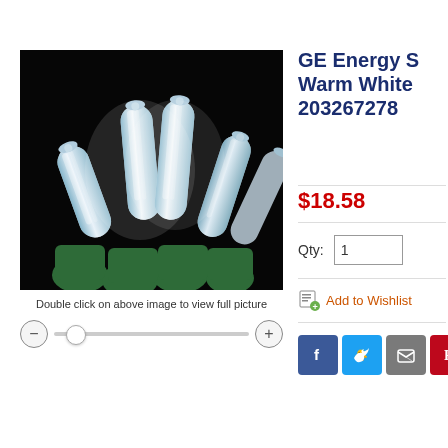[Figure (photo): Close-up photo of GE LED Christmas light bulbs with clear elongated caps on green bases, shot against a black background.]
Double click on above image to view full picture
GE Energy S Warm White 203267278
$18.58
Qty: 1
Add to Wishlist